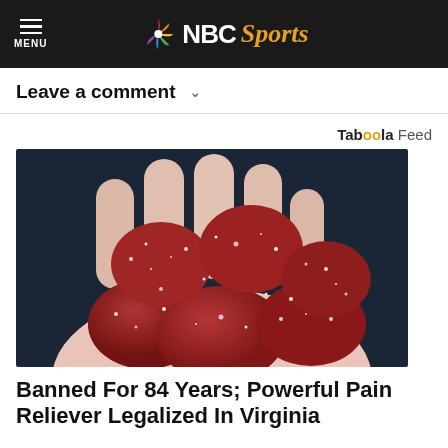NBC Sports
Leave a comment
Taboola Feed
[Figure (photo): A hand holding several dark red sugary gummy candies coated in sugar crystals, against a dark background.]
Banned For 84 Years; Powerful Pain Reliever Legalized In Virginia